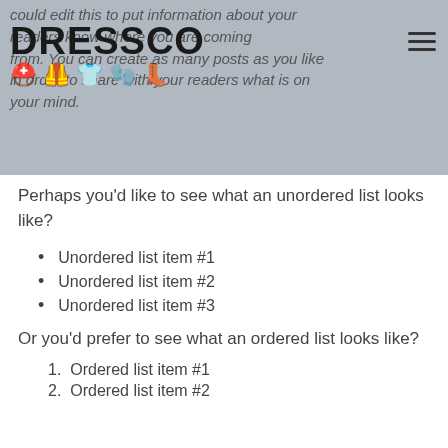could edit this to put information about your readers know where you are coming from. You can create as many posts as you like in order to share with your readers what is on your mind.
Perhaps you'd like to see what an unordered list looks like?
Unordered list item #1
Unordered list item #2
Unordered list item #3
Or you'd prefer to see what an ordered list looks like?
Ordered list item #1
Ordered list item #2